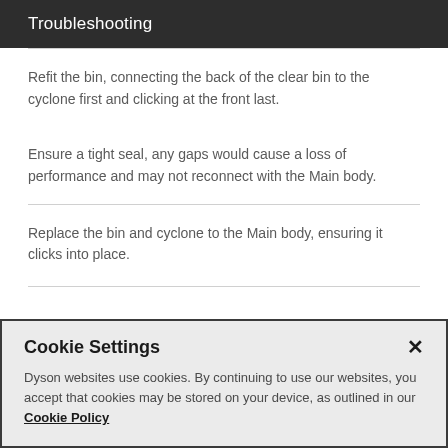Troubleshooting
Refit the bin, connecting the back of the clear bin to the cyclone first and clicking at the front last.
Ensure a tight seal, any gaps would cause a loss of performance and may not reconnect with the Main body.
Replace the bin and cyclone to the Main body, ensuring it clicks into place.
Cookie Settings
Dyson websites use cookies. By continuing to use our websites, you accept that cookies may be stored on your device, as outlined in our Cookie Policy